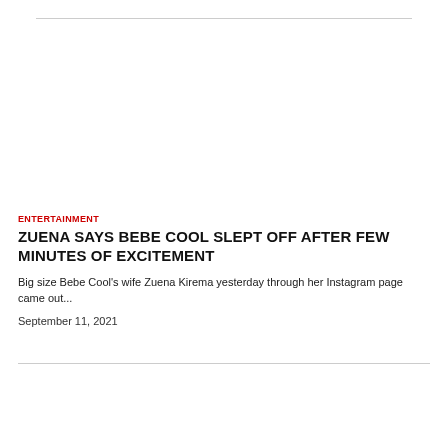[Figure (photo): Empty image placeholder area above article]
ENTERTAINMENT
ZUENA SAYS BEBE COOL SLEPT OFF AFTER FEW MINUTES OF EXCITEMENT
Big size Bebe Cool's wife Zuena Kirema yesterday through her Instagram page came out...
September 11, 2021